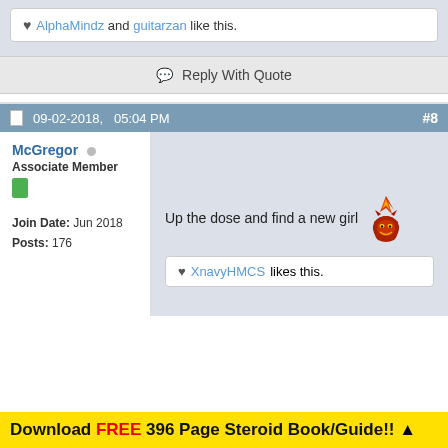AlphaMindz and guitarzan like this.
Reply With Quote
09-02-2018,   05:04 PM  #8
McGregor
Associate Member
Join Date:  Jun 2018
Posts:  176
Up the dose and find a new girl
XnavyHMCS likes this.
Download FREE 396 Page Steroid Book/Guide!! ▲